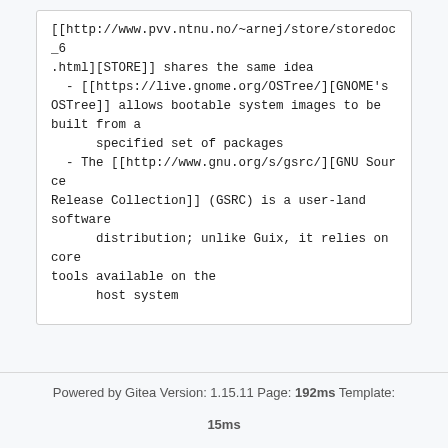[[http://www.pvv.ntnu.no/~arnej/store/storedoc_6.html][STORE]] shares the same idea
  - [[https://live.gnome.org/OSTree/][GNOME's OSTree]] allows bootable system images to be built from a
      specified set of packages
  - The [[http://www.gnu.org/s/gsrc/][GNU Source Release Collection]] (GSRC) is a user-land software
      distribution; unlike Guix, it relies on core tools available on the
      host system
Powered by Gitea Version: 1.15.11 Page: 192ms Template: 15ms